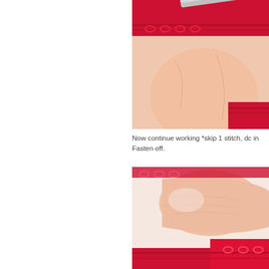[Figure (photo): Close-up photo of hands holding red crocheted fabric with a metal crochet hook inserted into a stitch. The hook and fingers are visible against white background.]
Now continue working *skip 1 stitch, dc in Fasten off.
[Figure (photo): Close-up photo of a finger pointing at or holding red crocheted fabric, showing the texture of the crochet stitches at the bottom of the frame.]